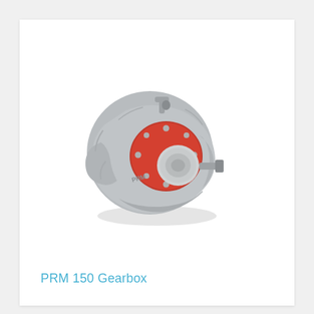[Figure (photo): A PRM 150 marine gearbox photographed at an angle. The gearbox has a grey cast aluminium housing with complex curved surfaces, and features a prominent red central section with bolts and mechanical components visible. A small grey bracket/lever extends from the top. The unit has a circular flange on the right side.]
PRM 150 Gearbox